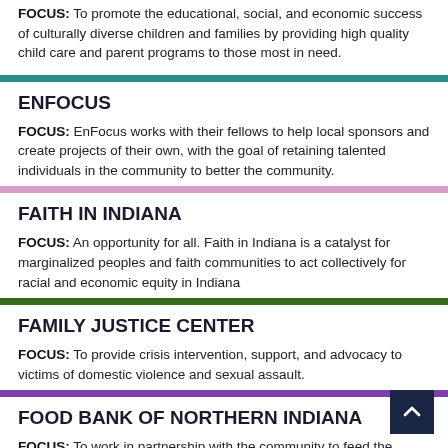FOCUS: To promote the educational, social, and economic success of culturally diverse children and families by providing high quality child care and parent programs to those most in need.
ENFOCUS
FOCUS: EnFocus works with their fellows to help local sponsors and create projects of their own, with the goal of retaining talented individuals in the community to better the community.
FAITH IN INDIANA
FOCUS: An opportunity for all. Faith in Indiana is a catalyst for marginalized peoples and faith communities to act collectively for racial and economic equity in Indiana
FAMILY JUSTICE CENTER
FOCUS: To provide crisis intervention, support, and advocacy to victims of domestic violence and sexual assault.
FOOD BANK OF NORTHERN INDIANA
FOCUS: To work in partnership with the community to feed the